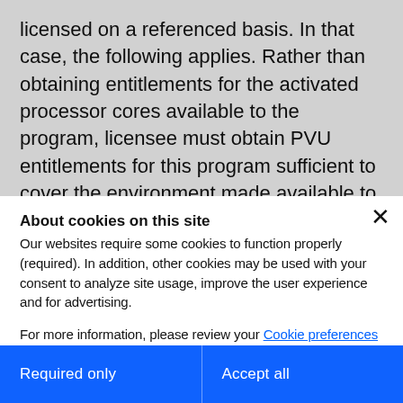licensed on a referenced basis. In that case, the following applies. Rather than obtaining entitlements for the activated processor cores available to the program, licensee must obtain PVU entitlements for this program sufficient to cover the environment made available to the referenced program as if the program itself were executing everywhere the referenced program was executing.
About cookies on this site
Our websites require some cookies to function properly (required). In addition, other cookies may be used with your consent to analyze site usage, improve the user experience and for advertising.

For more information, please review your Cookie preferences options and IBM's privacy statement.
Required only
Accept all